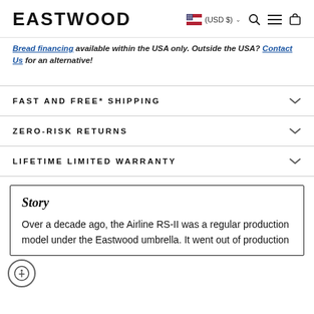EASTWOOD  (USD $)
Bread financing available within the USA only. Outside the USA? Contact Us for an alternative!
FAST AND FREE* SHIPPING
ZERO-RISK RETURNS
LIFETIME LIMITED WARRANTY
Story
Over a decade ago, the Airline RS-II was a regular production model under the Eastwood umbrella. It went out of production